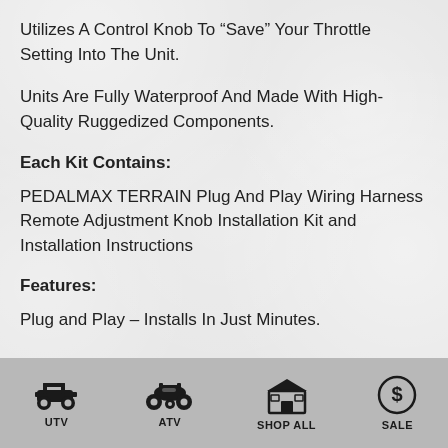Utilizes A Control Knob To “Save” Your Throttle Setting Into The Unit.
Units Are Fully Waterproof And Made With High-Quality Ruggedized Components.
Each Kit Contains:
PEDALMAX TERRAIN Plug And Play Wiring Harness Remote Adjustment Knob Installation Kit and Installation Instructions
Features:
Plug and Play – Installs In Just Minutes.
UTV  ATV  SHOP ALL  SALE